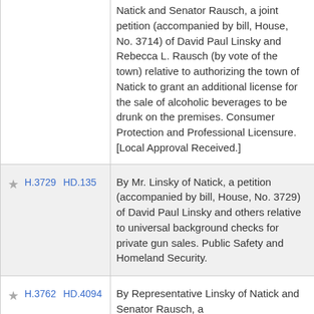Natick and Senator Rausch, a joint petition (accompanied by bill, House, No. 3714) of David Paul Linsky and Rebecca L. Rausch (by vote of the town) relative to authorizing the town of Natick to grant an additional license for the sale of alcoholic beverages to be drunk on the premises. Consumer Protection and Professional Licensure. [Local Approval Received.]
H.3729 HD.135 — By Mr. Linsky of Natick, a petition (accompanied by bill, House, No. 3729) of David Paul Linsky and others relative to universal background checks for private gun sales. Public Safety and Homeland Security.
H.3762 HD.4094 — By Representative Linsky of Natick and Senator Rausch, a